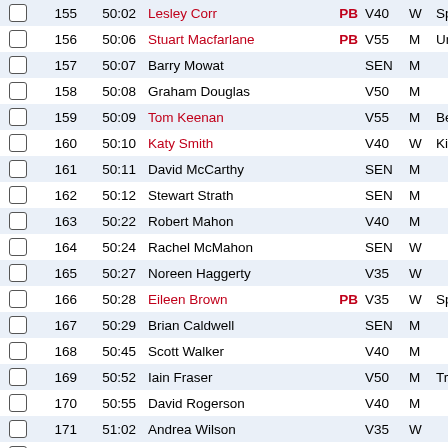|  | Pos | Time | Name | Badge | Cat | Sex | Club |
| --- | --- | --- | --- | --- | --- | --- | --- |
| ☐ | 155 | 50:02 | Lesley Corr | PB | V40 | W | Sp |
| ☐ | 156 | 50:06 | Stuart Macfarlane | PB | V55 | M | Un |
| ☐ | 157 | 50:07 | Barry Mowat |  | SEN | M |  |
| ☐ | 158 | 50:08 | Graham Douglas |  | V50 | M |  |
| ☐ | 159 | 50:09 | Tom Keenan |  | V55 | M | Be |
| ☐ | 160 | 50:10 | Katy Smith |  | V40 | W | Ki |
| ☐ | 161 | 50:11 | David McCarthy |  | SEN | M |  |
| ☐ | 162 | 50:12 | Stewart Strath |  | SEN | M |  |
| ☐ | 163 | 50:22 | Robert Mahon |  | V40 | M |  |
| ☐ | 164 | 50:24 | Rachel McMahon |  | SEN | W |  |
| ☐ | 165 | 50:27 | Noreen Haggerty |  | V35 | W |  |
| ☐ | 166 | 50:28 | Eileen Brown | PB | V35 | W | Sp |
| ☐ | 167 | 50:29 | Brian Caldwell |  | SEN | M |  |
| ☐ | 168 | 50:45 | Scott Walker |  | V40 | M |  |
| ☐ | 169 | 50:52 | Iain Fraser |  | V50 | M | Tr |
| ☐ | 170 | 50:55 | David Rogerson |  | V40 | M |  |
| ☐ | 171 | 51:02 | Andrea Wilson |  | V35 | W |  |
| ☐ | 172 | 51:03 | Alan Butcher | SB | V50 | M | St |
| ☐ | 173 | 51:13 | Stephen McKee |  | V40 | M |  |
| ☐ | 174 | 51:15 | Richard Pingone |  | SEN | M |  |